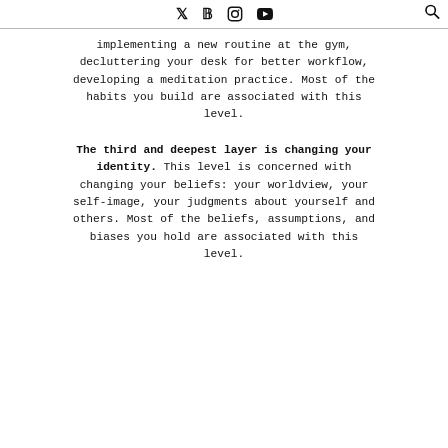Twitter Facebook Instagram YouTube [search]
implementing a new routine at the gym, decluttering your desk for better workflow, developing a meditation practice. Most of the habits you build are associated with this level.
The third and deepest layer is changing your identity. This level is concerned with changing your beliefs: your worldview, your self-image, your judgments about yourself and others. Most of the beliefs, assumptions, and biases you hold are associated with this level.